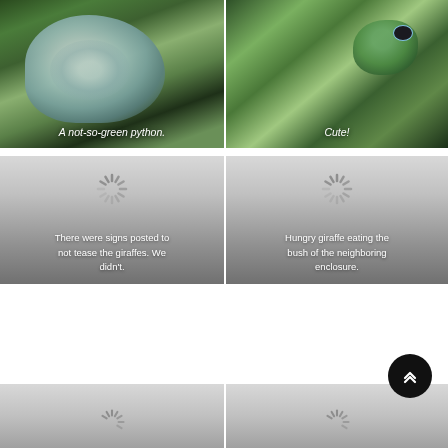[Figure (photo): A greenish-blue python coiled on a branch surrounded by leaves. Caption: A not-so-green python.]
[Figure (photo): A small green frog or lizard sitting among tropical leaves. Caption: Cute!]
[Figure (photo): Loading placeholder card with spinner. Caption: There were signs posted to not tease the giraffes. We didn't.]
[Figure (photo): Loading placeholder card with spinner. Caption: Hungry giraffe eating the bush of the neighboring enclosure.]
[Figure (photo): Partially visible loading placeholder card at bottom left with spinner.]
[Figure (photo): Partially visible loading placeholder card at bottom right with spinner.]